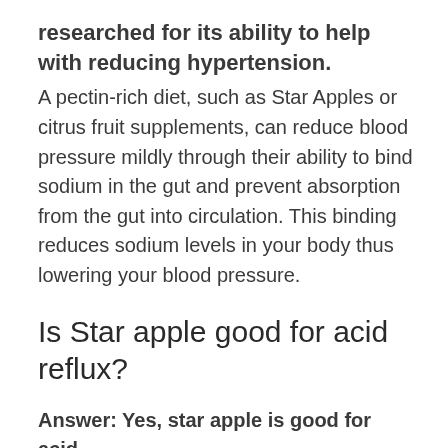researched for its ability to help with reducing hypertension.
A pectin-rich diet, such as Star Apples or citrus fruit supplements, can reduce blood pressure mildly through their ability to bind sodium in the gut and prevent absorption from the gut into circulation. This binding reduces sodium levels in your body thus lowering your blood pressure.
Is Star apple good for acid reflux?
Answer: Yes, star apple is good for acid